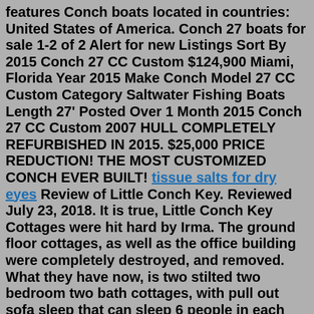features Conch boats located in countries: United States of America. Conch 27 boats for sale 1-2 of 2 Alert for new Listings Sort By 2015 Conch 27 CC Custom $124,900 Miami, Florida Year 2015 Make Conch Model 27 CC Custom Category Saltwater Fishing Boats Length 27' Posted Over 1 Month 2015 Conch 27 CC Custom 2007 HULL COMPLETELY REFURBISHED IN 2015. $25,000 PRICE REDUCTION! THE MOST CUSTOMIZED CONCH EVER BUILT! tissue salts for dry eyes Review of Little Conch Key. Reviewed July 23, 2018. It is true, Little Conch Key Cottages were hit hard by Irma. The ground floor cottages, as well as the office building were completely destroyed, and removed. What they have now, is two stilted two bedroom two bath cottages, with pull out sofa sleep that can sleep 6 people in each cottage.Now: $2.27. LL2324 COPPER 1-1/4" Copper Western Floral Engraved Berry Square Concho Screwback. $4.20. LL2254 RCS 1-3/4" Copper Engraved Parachute Concho Screwback Sale. LL2207 COP 3/4" Copper Letter "A" Shaped